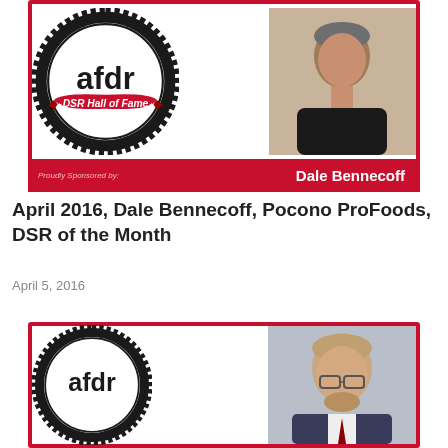[Figure (photo): AFDR DSR Hall of Fame banner with seal logo on left and headshot of Dale Bennecoff on right, red border with white interior, red footer bar showing 'Dale Bennecoff']
April 2016, Dale Bennecoff, Pocono ProFoods, DSR of the Month
April 5, 2016
[Figure (logo): AFDR seal logo (partial, bottom of page) with a second person's headshot on the right]